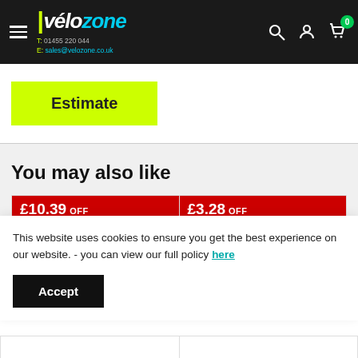vélozone | T: 01455 220 044 | E: sales@velozone.co.uk
Estimate
You may also like
£10.39 OFF
£3.28 OFF
This website uses cookies to ensure you get the best experience on our website. - you can view our full policy here
Accept